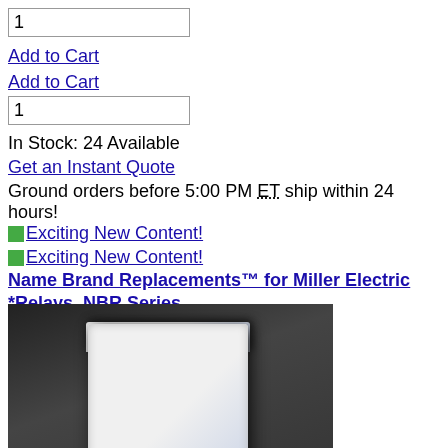1
Add to Cart
Add to Cart
1
In Stock: 24 Available
Get an Instant Quote
Ground orders before 5:00 PM ET ship within 24 hours!
Exciting New Content!
Exciting New Content!
Name Brand Replacements™ for Miller Electric *Relays, NBR Series
[Figure (photo): Photo of a white relay component (Name Brand Replacement for Miller Electric NBR Series) on a dark background. The relay is a small white rectangular block with metal pins at the bottom. Galco logo visible at the bottom left, www.galco.com at the bottom right.]